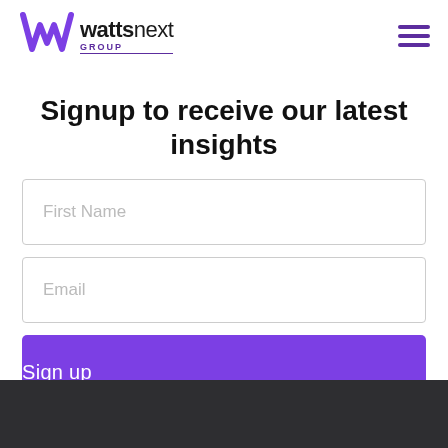wattsnext GROUP
Signup to receive our latest insights
First Name
Email
Sign up